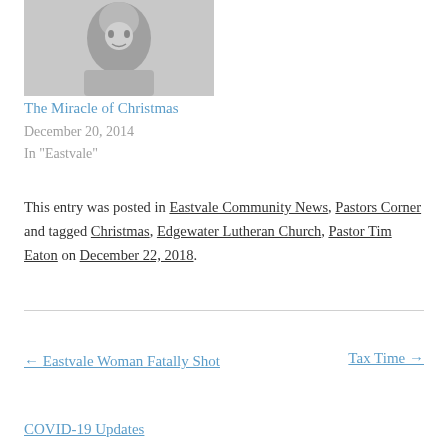[Figure (photo): Grayscale photo of a person's face/head]
The Miracle of Christmas
December 20, 2014
In "Eastvale"
This entry was posted in Eastvale Community News, Pastors Corner and tagged Christmas, Edgewater Lutheran Church, Pastor Tim Eaton on December 22, 2018.
← Eastvale Woman Fatally Shot
Tax Time →
COVID-19 Updates